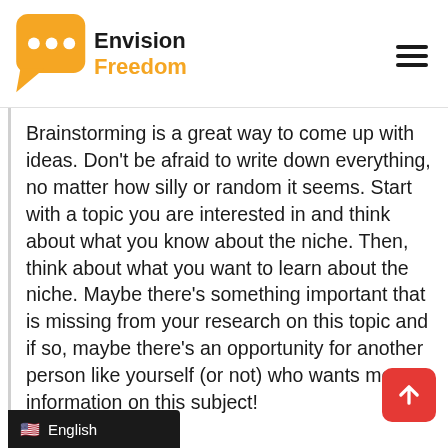[Figure (logo): Envision Freedom logo with yellow speech bubble icon and text 'Envision Freedom']
Brainstorming is a great way to come up with ideas. Don't be afraid to write down everything, no matter how silly or random it seems. Start with a topic you are interested in and think about what you know about the niche. Then, think about what you want to learn about the niche. Maybe there's something important that is missing from your research on this topic and if so, maybe there's an opportunity for another person like yourself (or not) who wants more information on this subject!